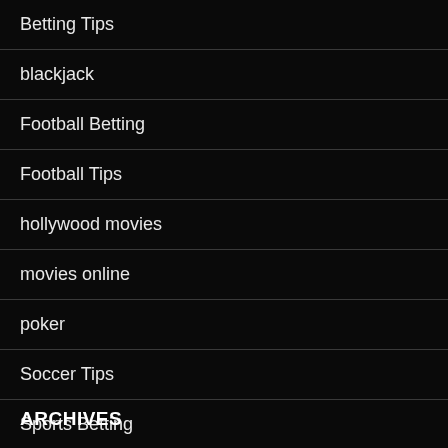Betting Tips
blackjack
Football Betting
Football Tips
hollywood movies
movies online
poker
Soccer Tips
Sports Betting
Sports Online
ARCHIVES